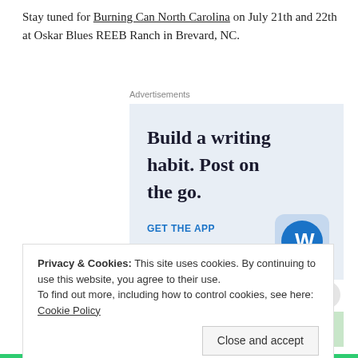Stay tuned for Burning Can North Carolina on July 21th and 22th at Oskar Blues REEB Ranch in Brevard, NC.
Advertisements
[Figure (screenshot): WordPress advertisement banner with text 'Build a writing habit. Post on the go.' and 'GET THE APP' with WordPress logo on light blue background]
Share this:
Advertisements
[Figure (screenshot): Jetpack advertisement banner with 'Back up your...' text on green background]
Privacy & Cookies: This site uses cookies. By continuing to use this website, you agree to their use.
To find out more, including how to control cookies, see here: Cookie Policy
Close and accept